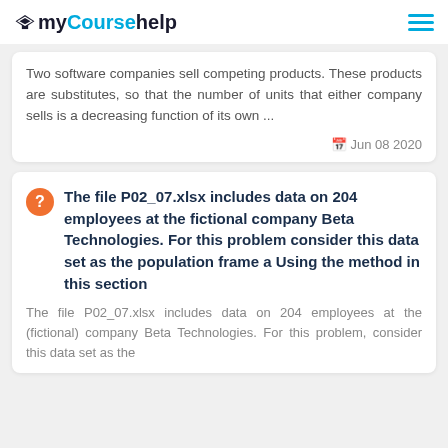myCoursehelp
Two software companies sell competing products. These products are substitutes, so that the number of units that either company sells is a decreasing function of its own ...
Jun 08 2020
The file P02_07.xlsx includes data on 204 employees at the fictional company Beta Technologies. For this problem consider this data set as the population frame a Using the method in this section
The file P02_07.xlsx includes data on 204 employees at the (fictional) company Beta Technologies. For this problem, consider this data set as the